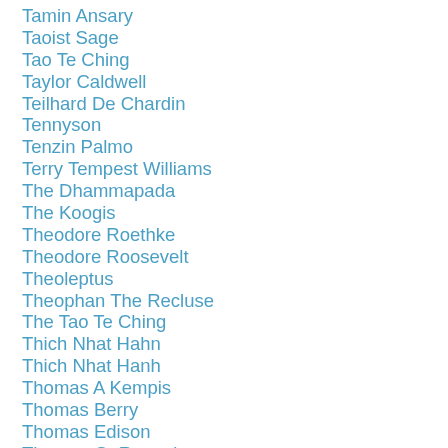Tamin Ansary
Taoist Sage
Tao Te Ching
Taylor Caldwell
Teilhard De Chardin
Tennyson
Tenzin Palmo
Terry Tempest Williams
The Dhammapada
The Koogis
Theodore Roethke
Theodore Roosevelt
Theoleptus
Theophan The Recluse
The Tao Te Ching
Thich Nhat Hahn
Thich Nhat Hanh
Thomas A Kempis
Thomas Berry
Thomas Edison
Thomas G. Rotteniece